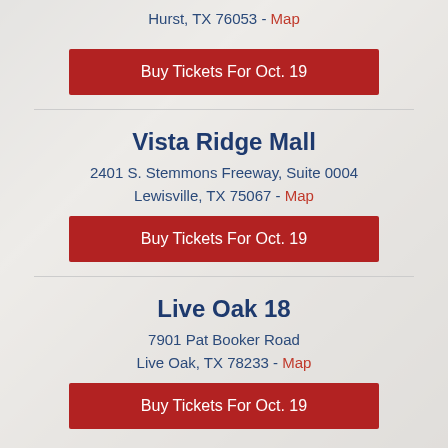Hurst, TX 76053 - Map
Buy Tickets For Oct. 19
Vista Ridge Mall
2401 S. Stemmons Freeway, Suite 0004
Lewisville, TX 75067 - Map
Buy Tickets For Oct. 19
Live Oak 18
7901 Pat Booker Road
Live Oak, TX 78233 - Map
Buy Tickets For Oct. 19